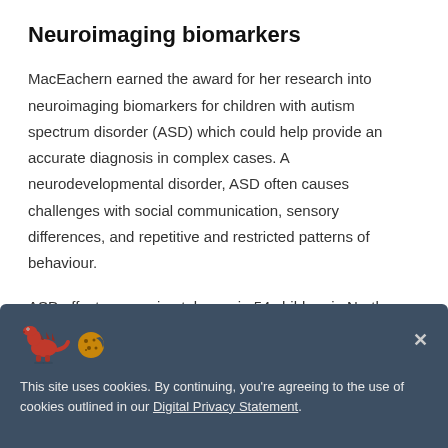Neuroimaging biomarkers
MacEachern earned the award for her research into neuroimaging biomarkers for children with autism spectrum disorder (ASD) which could help provide an accurate diagnosis in complex cases. A neurodevelopmental disorder, ASD often causes challenges with social communication, sensory differences, and repetitive and restricted patterns of behaviour.
ASD affects approximately one in 54 children in North America, with boys affected four times more frequently
This site uses cookies. By continuing, you're agreeing to the use of cookies outlined in our Digital Privacy Statement.